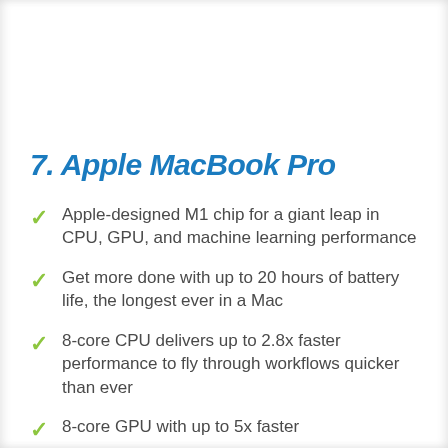7. Apple MacBook Pro
Apple-designed M1 chip for a giant leap in CPU, GPU, and machine learning performance
Get more done with up to 20 hours of battery life, the longest ever in a Mac
8-core CPU delivers up to 2.8x faster performance to fly through workflows quicker than ever
8-core GPU with up to 5x faster